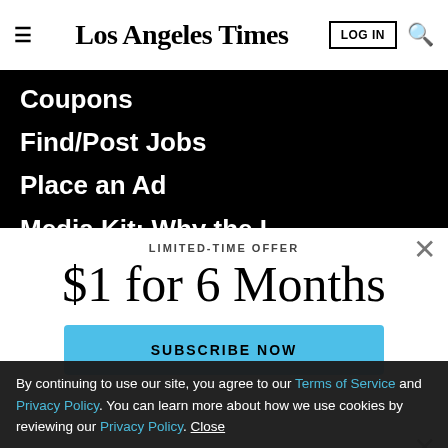Los Angeles Times — LOG IN (search icon)
Coupons
Find/Post Jobs
Place an Ad
Media Kit: Why the L.A. Times?
Bestcovery
LIMITED-TIME OFFER
$1 for 6 Months
SUBSCRIBE NOW
By continuing to use our site, you agree to our Terms of Service and Privacy Policy. You can learn more about how we use cookies by reviewing our Privacy Policy. Close